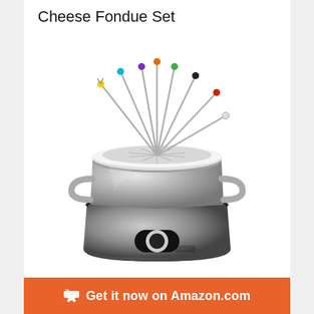Cheese Fondue Set
[Figure (photo): A stainless steel electric cheese fondue set with a black base, white lid with fork slots, and eight colorful fondue forks fanned out from the top.]
Get it now on Amazon.com